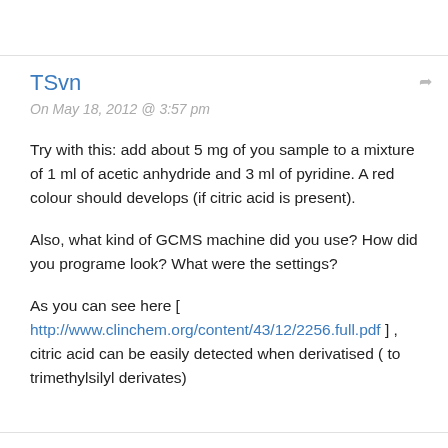TSvn
On May 18, 2012 @ 3:57 pm
Try with this: add about 5 mg of you sample to a mixture of 1 ml of acetic anhydride and 3 ml of pyridine. A red colour should develops (if citric acid is present).
Also, what kind of GCMS machine did you use? How did you programe look? What were the settings?
As you can see here [ http://www.clinchem.org/content/43/12/2256.full.pdf ] , citric acid can be easily detected when derivatised ( to trimethylsilyl derivates)